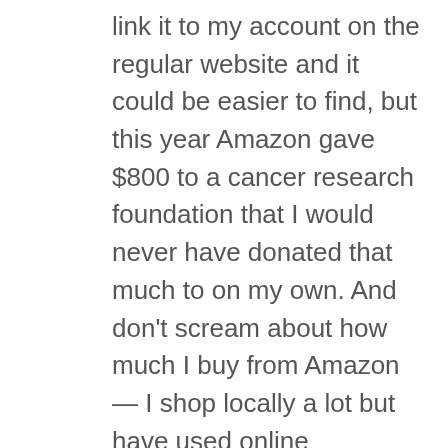link it to my account on the regular website and it could be easier to find, but this year Amazon gave $800 to a cancer research foundation that I would never have donated that much to on my own. And don't scream about how much I buy from Amazon — I shop locally a lot but have used online purchasing more during the pandemic to reduce exposure. And I donate regularly to other charities. Based on the non-profit I work for, the increase in the standard deduction has done more to reduce donations by low-level donors, and thereby the quantity and quality of